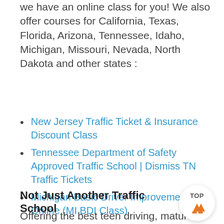we have an online class for you! We also offer courses for California, Texas, Florida, Arizona, Tennessee, Idaho, Michigan, Missouri, Nevada, North Dakota and other states :
New Jersey Traffic Ticket & Insurance Discount Class
Tennessee Department of Safety Approved Traffic School | Dismiss TN Traffic Tickets
Michigan Basic Driver Improvement Online (MI BDI Class)
Not Just Another Traffic School
Offering the best teen driving, mature drive…